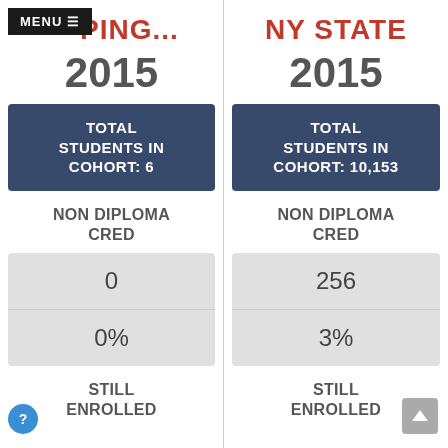MENU
PING...
NY STATE
2015
2015
TOTAL STUDENTS IN COHORT: 6
TOTAL STUDENTS IN COHORT: 10,153
NON DIPLOMA CRED
NON DIPLOMA CRED
0
0%
256
3%
STILL ENROLLED
STILL ENROLLED